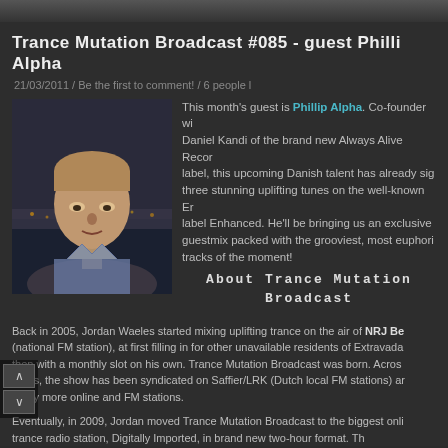Trance Mutation Broadcast #085 - guest Phillip Alpha
21/03/2011 / Be the first to comment! / 6 people
[Figure (photo): Portrait photo of Phillip Alpha, a young man with light hair, wearing a plaid shirt, photographed outdoors at dusk near water]
This month's guest is Phillip Alpha. Co-founder with Daniel Kandi of the brand new Always Alive Records label, this upcoming Danish talent has already signed three stunning uplifting tunes on the well-known Enhanced label. He'll be bringing us an exclusive guestmix packed with the grooviest, most euphoric tracks of the moment!
About Trance Mutation Broadcast
Back in 2005, Jordan Waeles started mixing uplifting trance on the air of NRJ Belgium (national FM station), at first filling in for other unavailable residents of Extravadance, then with a monthly slot on his own. Trance Mutation Broadcast was born. Across the years, the show has been syndicated on Saffier/LRK (Dutch local FM stations) and many more online and FM stations.
Eventually, in 2009, Jordan moved Trance Mutation Broadcast to the biggest online trance radio station, Digitally Imported, in brand new two-hour format. The